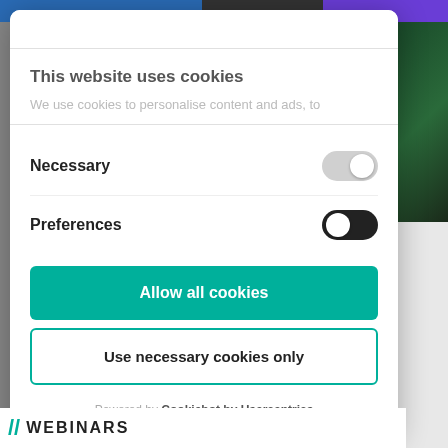This website uses cookies
We use cookies to personalise content and ads, to
Necessary
Preferences
Allow all cookies
Use necessary cookies only
Powered by Cookiebot by Usercentrics
[Figure (logo): Webinars logo with green double-slash and bold uppercase WEBINARS text]